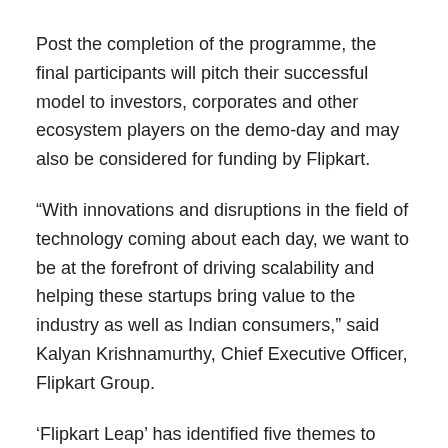Post the completion of the programme, the final participants will pitch their successful model to investors, corporates and other ecosystem players on the demo-day and may also be considered for funding by Flipkart.
“With innovations and disruptions in the field of technology coming about each day, we want to be at the forefront of driving scalability and helping these startups bring value to the industry as well as Indian consumers,” said Kalyan Krishnamurthy, Chief Executive Officer, Flipkart Group.
‘Flipkart Leap’ has identified five themes to shortlist relevant high-potential startups.
These include design & make for India; innovation in digital commerce; technologies to empower the retail ecosystem;